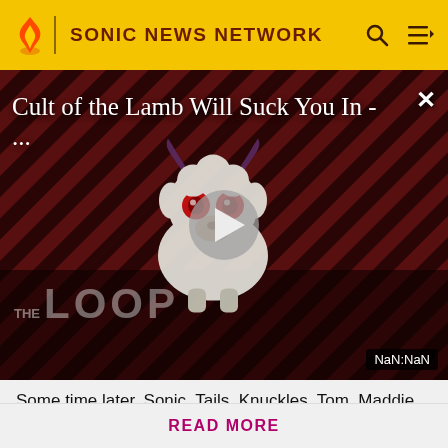SONIC NEWS NETWORK
[Figure (screenshot): Video player showing 'Cult of the Lamb Will Suck You In - ...' with a play button overlay on a dark diagonal striped background featuring a cartoon character logo. Bottom left shows 'THE LOOP' text. Bottom right shows 'NaN:NaN' time badge.]
Some time later, Sonic, Tails, Knuckles, Tom, Maddie, an
Know something we don't about Sonic? Don't hesitate in signing up today! It's fast, free, and you will get a
READ MORE